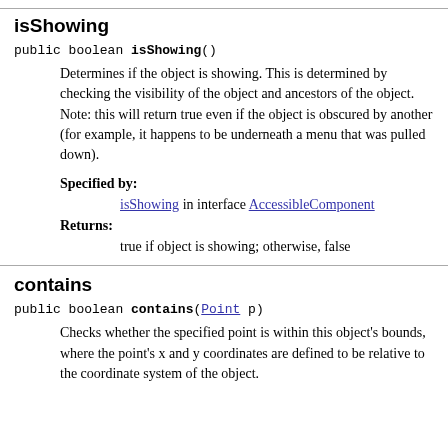isShowing
public boolean isShowing()
Determines if the object is showing. This is determined by checking the visibility of the object and ancestors of the object. Note: this will return true even if the object is obscured by another (for example, it happens to be underneath a menu that was pulled down).
Specified by: isShowing in interface AccessibleComponent
Returns: true if object is showing; otherwise, false
contains
public boolean contains(Point p)
Checks whether the specified point is within this object's bounds, where the point's x and y coordinates are defined to be relative to the coordinate system of the object.